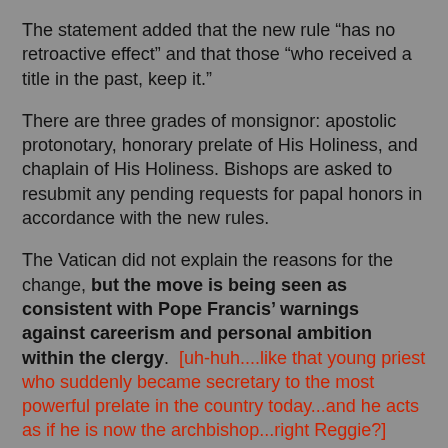The statement added that the new rule “has no retroactive effect” and that those “who received a title in the past, keep it.”
There are three grades of monsignor: apostolic protonotary, honorary prelate of His Holiness, and chaplain of His Holiness. Bishops are asked to resubmit any pending requests for papal honors in accordance with the new rules.
The Vatican did not explain the reasons for the change, but the move is being seen as consistent with Pope Francis’ warnings against careerism and personal ambition within the clergy. [uh-huh....like that young priest who suddenly became secretary to the most powerful prelate in the country today...and he acts as if he is now the archbishop...right Reggie?]
Vatican spokesman Father Federico Lombardi told reporters yesterday that Pope Paul VI had reformed the system of ecclesiastical honors in 1968, reducing the number of titles to three.